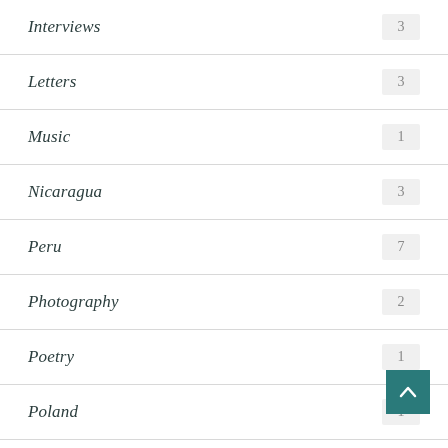Interviews 3
Letters 3
Music 1
Nicaragua 3
Peru 7
Photography 2
Poetry 1
Poland 1
Senegal 2